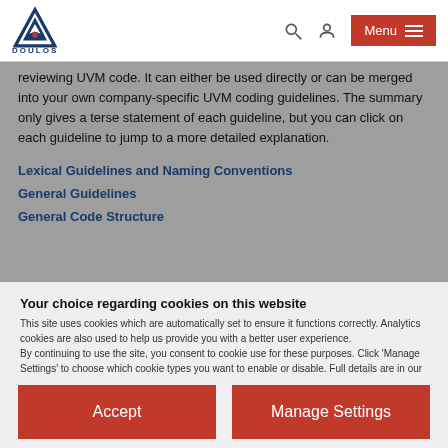DOULOS — Menu
reviewing UVM code. It can either be used directly or can be merged into your own company-specific UVM coding guidelines. The summary only gives a terse statement of each guideline, but you can click on each guideline to jump to a more detailed explanation.
Lexical Guidelines and Naming Conventions
General Guidelines
General Code Structure
Your choice regarding cookies on this website
This site uses cookies which are automatically set to ensure it functions correctly. Analytics cookies are also used to help us provide you with a better user experience.
By continuing to use the site, you consent to cookie use for these purposes. Click 'Manage Settings' to choose which cookie types you want to enable or disable. Full details are in our Cookie Policy.
Accept
Manage Settings